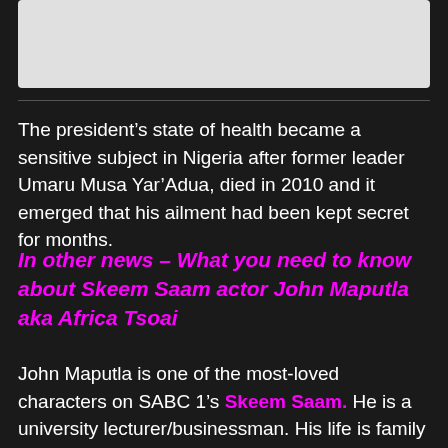[Figure (photo): Image placeholder at top of page]
The president’s state of health became a sensitive subject in Nigeria after former leader Umaru Musa Yar’Adua, died in 2010 and it emerged that his ailment had been kept secret for months.
In other news – What you need to know about Skeem Saam actor John Maputla aka Africa Tsoai
John Maputla is one of the most-loved characters on SABC 1’s Skeem Saam. He is a university lecturer/businessman. His life is family orientated as well as of service to his